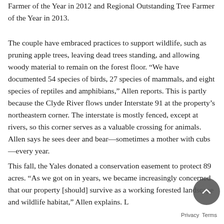Farmer of the Year in 2012 and Regional Outstanding Tree Farmer of the Year in 2013.
The couple have embraced practices to support wildlife, such as pruning apple trees, leaving dead trees standing, and allowing woody material to remain on the forest floor. “We have documented 54 species of birds, 27 species of mammals, and eight species of reptiles and amphibians,” Allen reports. This is partly because the Clyde River flows under Interstate 91 at the property’s northeastern corner. The interstate is mostly fenced, except at rivers, so this corner serves as a valuable crossing for animals. Allen says he sees deer and bear—sometimes a mother with cubs—every year.
This fall, the Yales donated a conservation easement to protect 89 acres. “As we got on in years, we became increasingly concerned that our property [should] survive as a working forested landscape and wildlife habitat,” Allen explains. Land along the Clyde River will be kept naturally wooded to provide